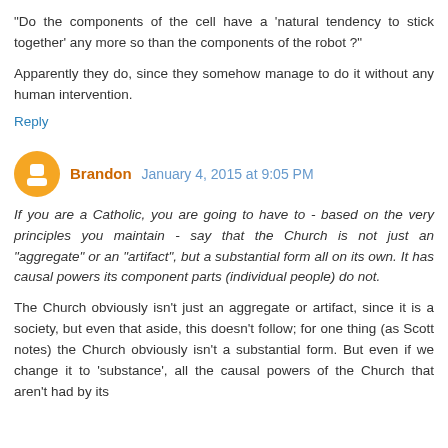"Do the components of the cell have a 'natural tendency to stick together' any more so than the components of the robot ?"
Apparently they do, since they somehow manage to do it without any human intervention.
Reply
Brandon  January 4, 2015 at 9:05 PM
If you are a Catholic, you are going to have to - based on the very principles you maintain - say that the Church is not just an "aggregate" or an "artifact", but a substantial form all on its own. It has causal powers its component parts (individual people) do not.
The Church obviously isn't just an aggregate or artifact, since it is a society, but even that aside, this doesn't follow; for one thing (as Scott notes) the Church obviously isn't a substantial form. But even if we change it to 'substance', all the causal powers of the Church that aren't had by its